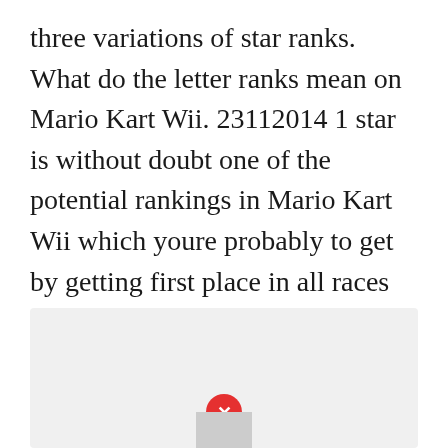three variations of star ranks. What do the letter ranks mean on Mario Kart Wii. 23112014 1 star is without doubt one of the potential rankings in Mario Kart Wii which youre probably to get by getting first place in all races of a cup. Here are some guidelines to getting a one-star two-star or three-star rank.
[Figure (other): A broken/missing advertisement image placeholder with a gray rectangle and a red circle containing a white X symbol]